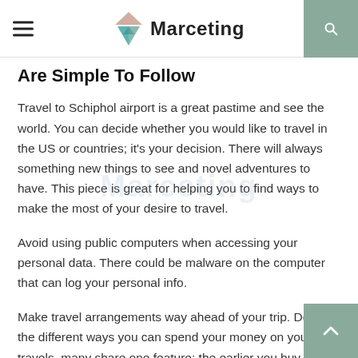Marceting
Are Simple To Follow
Travel to Schiphol airport is a great pastime and see the world. You can decide whether you would like to travel in the US or countries; it's your decision. There will always something new things to see and novel adventures to have. This piece is great for helping you to find ways to make the most of your desire to travel.
Avoid using public computers when accessing your personal data. There could be malware on the computer that can log your personal info.
Make travel arrangements way ahead of your trip. Despite the different ways you can spend your money on your travels, many share one feature: the earlier you buy them, virtually all of them have a common characteristic: they are